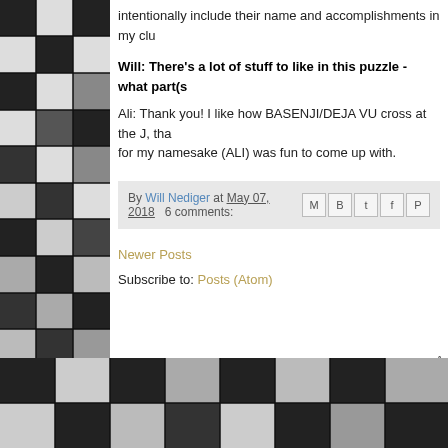intentionally include their name and accomplishments in my clu
Will: There's a lot of stuff to like in this puzzle - what part(s
Ali: Thank you! I like how BASENJI/DEJA VU cross at the J, tha for my namesake (ALI) was fun to come up with.
By Will Nediger at May 07, 2018   6 comments:
Newer Posts
Subscribe to: Posts (Atom)